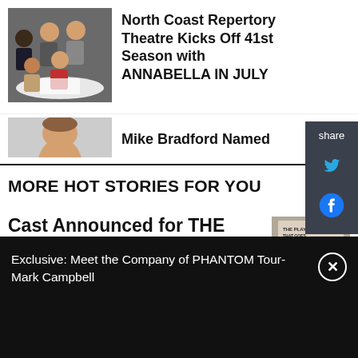[Figure (photo): Group photo of cast members seated at a table]
North Coast Repertory Theatre Kicks Off 41st Season with ANNABELLA IN JULY
[Figure (photo): Mike Bradford headshot, partial view]
Mike Bradford Named
MORE HOT STORIES FOR YOU
Cast Announced for THE PLAY THAT GOES WRONG at San Jose Stage
[Figure (photo): The Play That Goes cover image]
Exclusive: Meet the Company of PHANTOM Tour- Mark Campbell